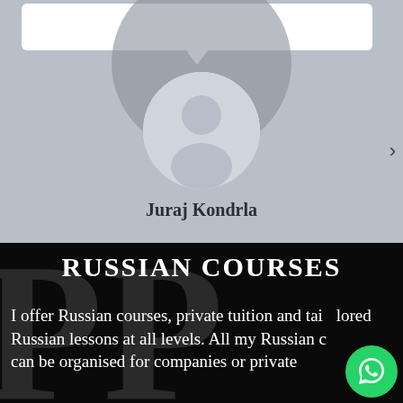[Figure (photo): User profile area with grey background, white speech bubble at top, large grey circle background element, circular avatar placeholder with generic person silhouette, right navigation arrow, and name 'Juraj Kondrla' below the avatar]
RUSSIAN COURSES
I offer Russian courses, private tuition and tailored Russian lessons at all levels. All my Russian courses can be organised for companies or private